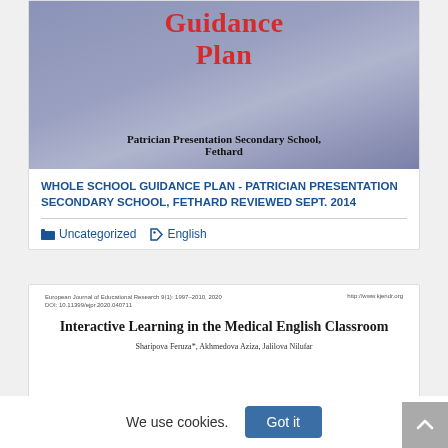[Figure (photo): Book cover thumbnail showing 'Guidance Plan' in red text on a blue-grey background, with subtitle 'Patrician Presentation Secondary School, Fethard']
WHOLE SCHOOL GUIDANCE PLAN - PATRICIAN PRESENTATION SECONDARY SCHOOL, FETHARD REVIEWED SEPT. 2014
Uncategorized  English
[Figure (screenshot): Partial view of an academic paper titled 'Interactive Learning in the Medical English Classroom' by Sharipova Feruza, Akhmedova Aziza, Jalilova Nilufar, from European Journal of Educational Research]
We use cookies.  Got it